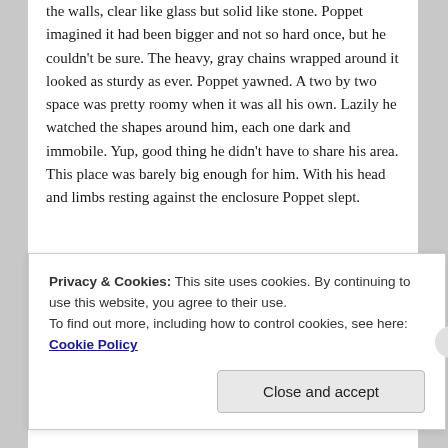the walls, clear like glass but solid like stone. Poppet imagined it had been bigger and not so hard once, but he couldn't be sure. The heavy, gray chains wrapped around it looked as sturdy as ever. Poppet yawned. A two by two space was pretty roomy when it was all his own. Lazily he watched the shapes around him, each one dark and immobile. Yup, good thing he didn't have to share his area. This place was barely big enough for him. With his head and limbs resting against the enclosure Poppet slept.
Privacy & Cookies: This site uses cookies. By continuing to use this website, you agree to their use.
To find out more, including how to control cookies, see here: Cookie Policy
Close and accept